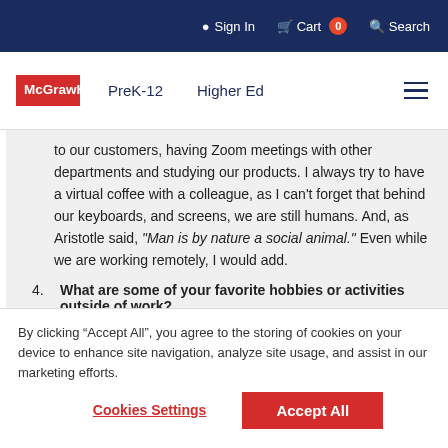Sign In  Cart 0  Search
[Figure (logo): McGraw Hill logo — red box with white text]
PreK-12   Higher Ed
to our customers, having Zoom meetings with other departments and studying our products. I always try to have a virtual coffee with a colleague, as I can't forget that behind our keyboards, and screens, we are still humans. And, as Aristotle said, "Man is by nature a social animal." Even while we are working remotely, I would add.
4. What are some of your favorite hobbies or activities outside of work?
By clicking “Accept All”, you agree to the storing of cookies on your device to enhance site navigation, analyze site usage, and assist in our marketing efforts.